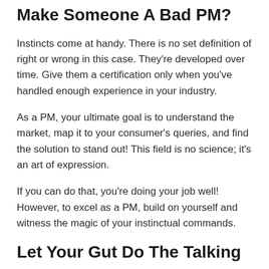Make Someone A Bad PM?
Instincts come at handy. There is no set definition of right or wrong in this case. They're developed over time. Give them a certification only when you've handled enough experience in your industry.
As a PM, your ultimate goal is to understand the market, map it to your consumer's queries, and find the solution to stand out! This field is no science; it's an art of expression.
If you can do that, you're doing your job well! However, to excel as a PM, build on yourself and witness the magic of your instinctual commands.
Let Your Gut Do The Talking